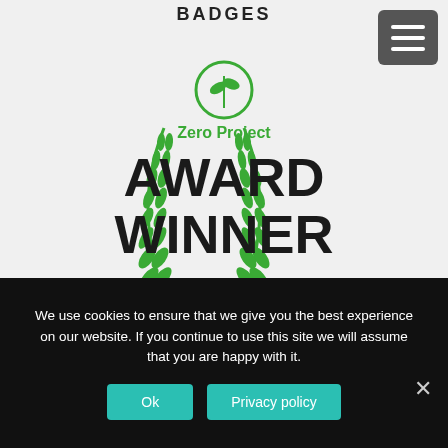BADGES
[Figure (logo): Zero Project Award Winner 2018 badge with green laurel wreath, plant logo icon, and bold text reading AWARD WINNER 2018]
We use cookies to ensure that we give you the best experience on our website. If you continue to use this site we will assume that you are happy with it.
Ok   Privacy policy